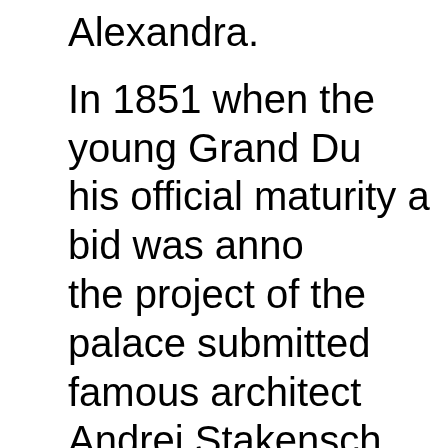Alexandra. In 1851 when the young Grand Du his official maturity a bid was anno the project of the palace submitted famous architect Andrei Stakensch the best one. The site approved for construction Annunciation sq. (now – pl. Truda) 40th of the XIX century that place into a highly fashionable area, the